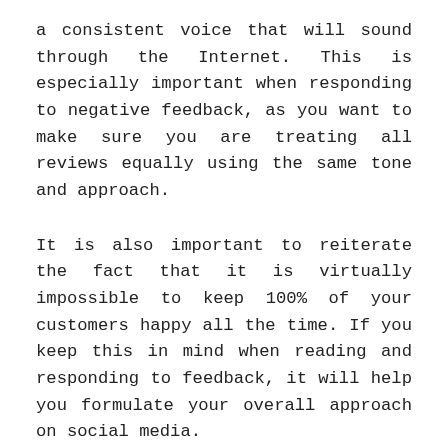a consistent voice that will sound through the Internet. This is especially important when responding to negative feedback, as you want to make sure you are treating all reviews equally using the same tone and approach.
It is also important to reiterate the fact that it is virtually impossible to keep 100% of your customers happy all the time. If you keep this in mind when reading and responding to feedback, it will help you formulate your overall approach on social media.